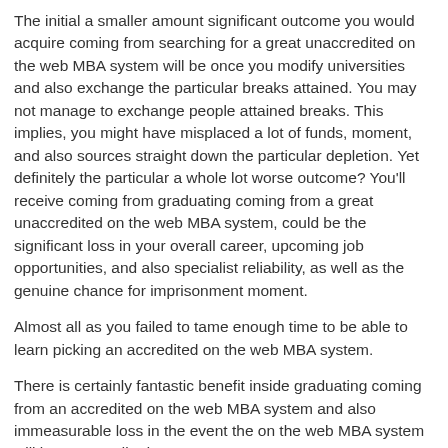The initial a smaller amount significant outcome you would acquire coming from searching for a great unaccredited on the web MBA system will be once you modify universities and also exchange the particular breaks attained. You may not manage to exchange people attained breaks. This implies, you might have misplaced a lot of funds, moment, and also sources straight down the particular depletion. Yet definitely the particular a whole lot worse outcome? You'll receive coming from graduating coming from a great unaccredited on the web MBA system, could be the significant loss in your overall career, upcoming job opportunities, and also specialist reliability, as well as the genuine chance for imprisonment moment.
Almost all as you failed to tame enough time to be able to learn picking an accredited on the web MBA system.
There is certainly fantastic benefit inside graduating coming from an accredited on the web MBA system and also immeasurable loss in the event the on the web MBA system will be unaccredited.